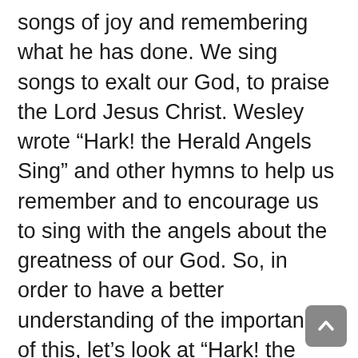songs of joy and remembering what he has done. We sing songs to exalt our God, to praise the Lord Jesus Christ. Wesley wrote “Hark! the Herald Angels Sing” and other hymns to help us remember and to encourage us to sing with the angels about the greatness of our God. So, in order to have a better understanding of the importance of this, let’s look at “Hark! the Herald Angels Sing” this morning for a few minutes.

The first thing I want you to notice is the word it begins with, that word, which all of us use every day, Hark! Hark! I’ve used that a bunch this year. But it simply means “pay attention.” Pay attention. And you may ask, “What’s God wanting us to pay attention